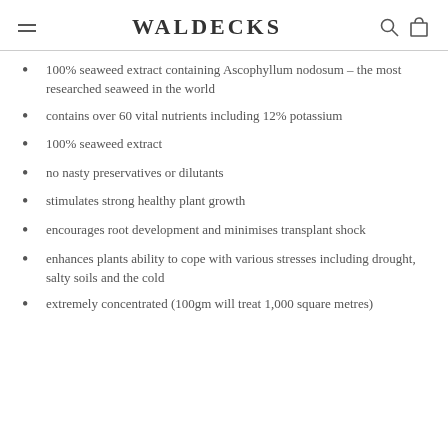WALDECKS
100% seaweed extract containing Ascophyllum nodosum – the most researched seaweed in the world
contains over 60 vital nutrients including 12% potassium
100% seaweed extract
no nasty preservatives or dilutants
stimulates strong healthy plant growth
encourages root development and minimises transplant shock
enhances plants ability to cope with various stresses including drought, salty soils and the cold
extremely concentrated (100gm will treat 1,000 square metres)